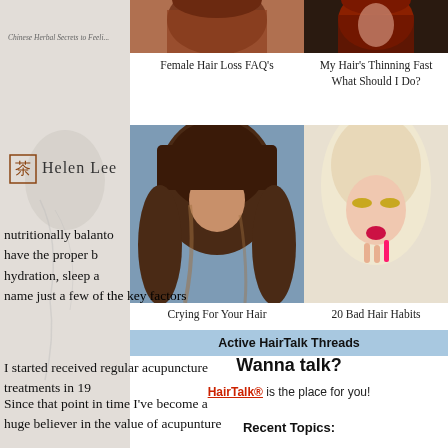[Figure (photo): Book cover with Helen Lee branding and decorative Chinese symbol, light grey background with italic text 'Chinese Herbal Secrets to Feel...']
[Figure (photo): Woman with long auburn hair (left top image)]
[Figure (photo): Woman with red hair and dark clothing (right top image)]
Female Hair Loss FAQ's
My Hair's Thinning Fast What Should I Do?
[Figure (photo): Woman with long wavy brown hair with bangs]
[Figure (photo): Blonde woman with glitter eye makeup holding pink lipstick]
Crying For Your Hair
20 Bad Hair Habits
nutritionally balan... to have the proper b... hydration, sleep a... name just a few of the key factors
I started received regular acupuncture treatments in 19...
Active HairTalk Threads
Wanna talk?
HairTalk® is the place for you!
Since that point in time I've become a huge believer in the value of acupunture
Recent Topics: